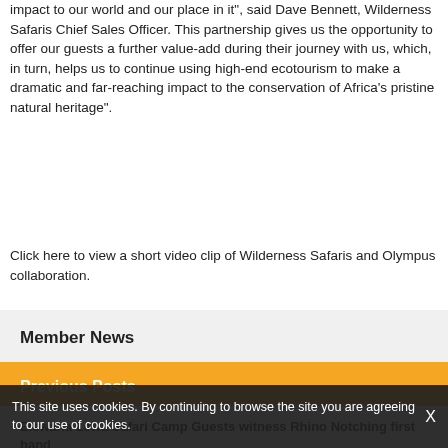impact to our world and our place in it", said Dave Bennett, Wilderness Safaris Chief Sales Officer. This partnership gives us the opportunity to offer our guests a further value-add during their journey with us, which, in turn, helps us to continue using high-end ecotourism to make a dramatic and far-reaching impact to the conservation of Africa's pristine natural heritage".
Click here to view a short video clip of Wilderness Safaris and Olympus collaboration.
Member News
Previous Posts
Elewana Lewa Safari Camp Guests witness Rhino Notching first hand
This site uses cookies. By continuing to browse the site you are agreeing to our use of cookies.